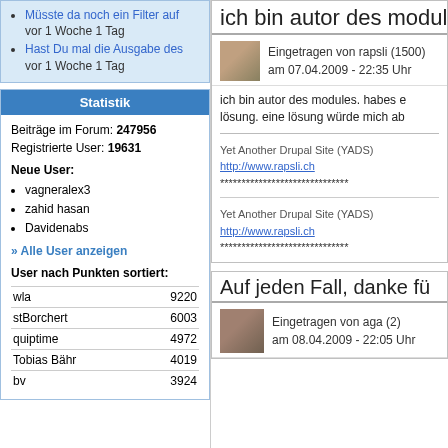Müsste da noch ein Filter auf
vor 1 Woche 1 Tag
Hast Du mal die Ausgabe des
vor 1 Woche 1 Tag
Statistik
Beiträge im Forum: 247956
Registrierte User: 19631
Neue User:
vagneralex3
zahid hasan
Davidenabs
» Alle User anzeigen
User nach Punkten sortiert:
| User | Punkte |
| --- | --- |
| wla | 9220 |
| stBorchert | 6003 |
| quiptime | 4972 |
| Tobias Bähr | 4019 |
| bv | 3924 |
ich bin autor des module
Eingetragen von rapsli (1500)
am 07.04.2009 - 22:35 Uhr
ich bin autor des modules. habes e lösung. eine lösung würde mich ab
Yet Another Drupal Site (YADS)
http://www.rapsli.ch
******************************
Yet Another Drupal Site (YADS)
http://www.rapsli.ch
******************************
Auf jeden Fall, danke fü
Eingetragen von aga (2)
am 08.04.2009 - 22:05 Uhr